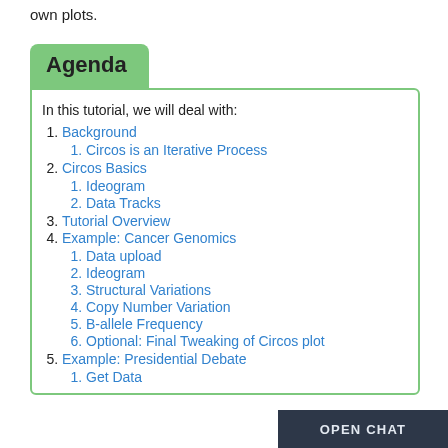own plots.
Agenda
In this tutorial, we will deal with:
1. Background
1. Circos is an Iterative Process
2. Circos Basics
1. Ideogram
2. Data Tracks
3. Tutorial Overview
4. Example: Cancer Genomics
1. Data upload
2. Ideogram
3. Structural Variations
4. Copy Number Variation
5. B-allele Frequency
6. Optional: Final Tweaking of Circos plot
5. Example: Presidential Debate
1. Get Data
OPEN CHAT